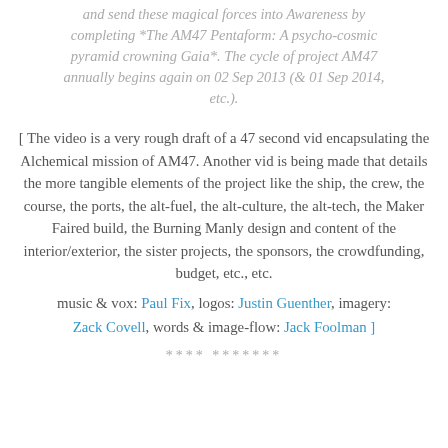and send these magical forces into Awareness by completing *The AM47 Pentaform: A psycho-cosmic pyramid crowning Gaia*. The cycle of project AM47 annually begins again on 02 Sep 2013 (& 01 Sep 2014, etc.).
[ The video is a very rough draft of a 47 second vid encapsulating the Alchemical mission of AM47. Another vid is being made that details the more tangible elements of the project like the ship, the crew, the course, the ports, the alt-fuel, the alt-culture, the alt-tech, the Maker Faired build, the Burning Manly design and content of the interior/exterior, the sister projects, the sponsors, the crowdfunding, budget, etc., etc.
music & vox: Paul Fix, logos: Justin Guenther, imagery: Zack Covell, words & image-flow: Jack Foolman ]
**** *******